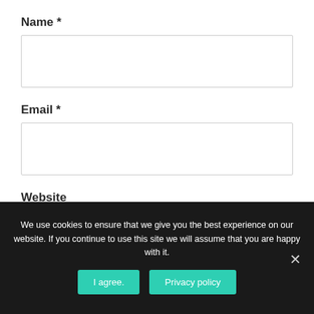Name *
[Figure (other): Empty text input field for Name]
Email *
[Figure (other): Empty text input field for Email]
Website
[Figure (other): Empty text input field for Website]
We use cookies to ensure that we give you the best experience on our website. If you continue to use this site we will assume that you are happy with it.
I agree.
Privacy policy